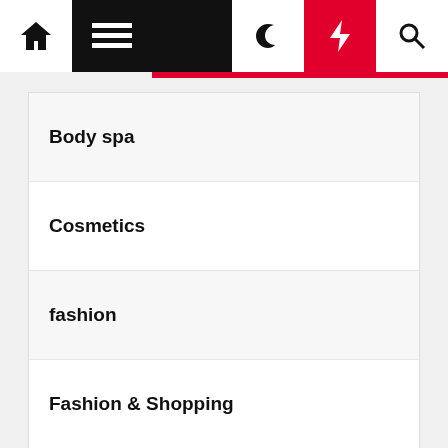Navigation bar with home, menu, moon, flash, and search icons
Body spa
Cosmetics
fashion
Fashion & Shopping
Fashion Style
Parfume
Shopping & Women